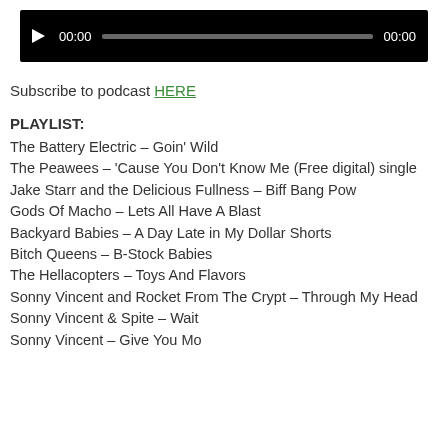[Figure (other): Audio player widget with black background, play button, time display showing 00:00, progress bar, and end time 00:00]
Subscribe to podcast HERE
PLAYLIST:
The Battery Electric – Goin' Wild
The Peawees – 'Cause You Don't Know Me (Free digital) single
Jake Starr and the Delicious Fullness – Biff Bang Pow
Gods Of Macho – Lets All Have A Blast
Backyard Babies – A Day Late in My Dollar Shorts
Bitch Queens – B-Stock Babies
The Hellacopters – Toys And Flavors
Sonny Vincent and Rocket From The Crypt – Through My Head
Sonny Vincent & Spite – Wait
Sonny Vincent – Give You More